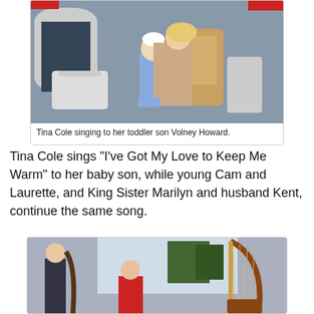[Figure (photo): Tina Cole kneeling behind her toddler son Volney Howard in a blue outfit, on a TV show set with white wicker furniture and an ornate golden chair, Christmas/holiday decor visible in background.]
Tina Cole singing to her toddler son Volney Howard.
Tina Cole sings "I've Got My Love to Keep Me Warm" to her baby son, while young Cam and Laurette, and King Sister Marilyn and husband Kent, continue the same song.
[Figure (photo): People performing on a TV show set with a large harp visible on the right side, holiday greenery in the background, one person in a red outfit seated.]